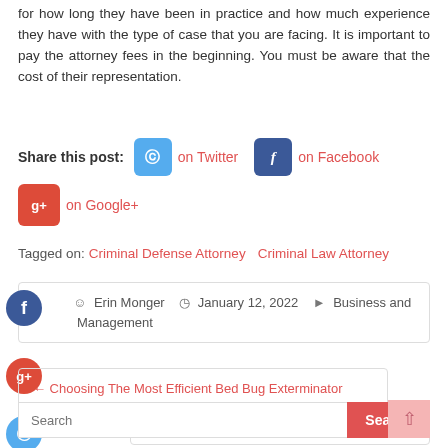for how long they have been in practice and how much experience they have with the type of case that you are facing. It is important to pay the attorney fees in the beginning. You must be aware that the cost of their representation.
Share this post: on Twitter on Facebook on Google+
Tagged on: Criminal Defense Attorney   Criminal Law Attorney
Erin Monger  January 12, 2022  Business and Management
← Choosing The Most Efficient Bed Bug Exterminator
All About Cheesecake Mix Online →